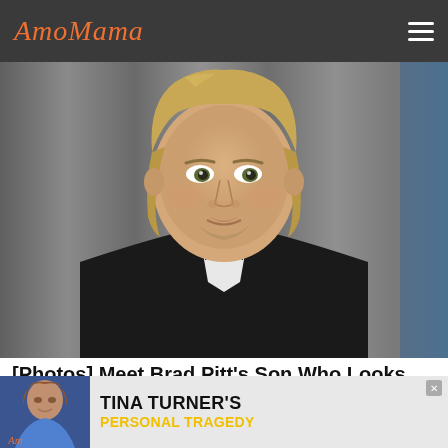AmoMama
[Figure (photo): Brad Pitt wearing a black tuxedo with bow tie, with shoulder-length blonde hair, looking slightly to the side against a gray draped background]
[Photos] Meet Brad Pitt's Son Who Looks Exactly Like His Dad
InvePost
[Figure (photo): Advertisement banner: Tina Turner photo on left with text 'TINA TURNER'S PERSONAL TRAGEDY' on right, AmoMama logo watermark]